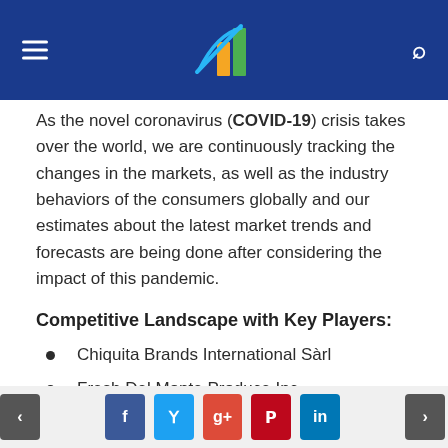Market Research Website Header with logo
As the novel coronavirus (COVID-19) crisis takes over the world, we are continuously tracking the changes in the markets, as well as the industry behaviors of the consumers globally and our estimates about the latest market trends and forecasts are being done after considering the impact of this pandemic.
Competitive Landscape with Key Players:
Chiquita Brands International Sàrl
Fresh Del Monte Produce Inc.
Dole Food Company, Inc.
Fyffes plc
Navigation and social share buttons: prev, Facebook, Twitter, Google+, Pinterest, LinkedIn, next